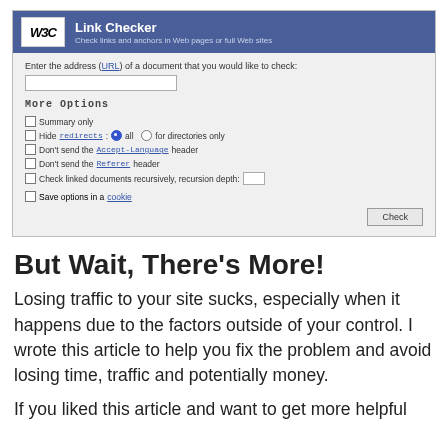[Figure (screenshot): W3C Link Checker web form with URL input field, More Options section including checkboxes and radio buttons for Summary only, Hide redirects, Accept-Language header, Referer header, recursive check options, Save options in a cookie, and a Check button.]
But Wait, There’s More!
Losing traffic to your site sucks, especially when it happens due to the factors outside of your control. I wrote this article to help you fix the problem and avoid losing time, traffic and potentially money.
If you liked this article and want to get more helpful